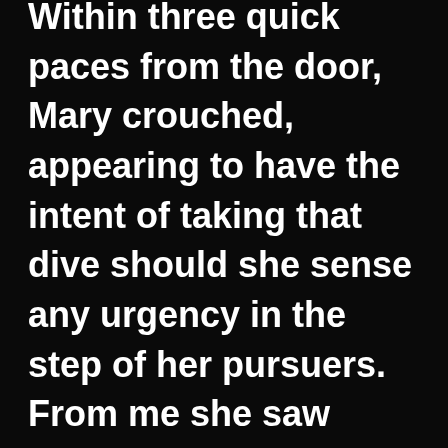Within three quick paces from the door, Mary crouched, appearing to have the intent of taking that dive should she sense any urgency in the step of her pursuers. From me she saw neither threat nor fear. I gave her my calmest confidence.

Approaching in the same manner, without rushed worry or stealthy walk, I began talking to her, trying to convey trust-worthiness.